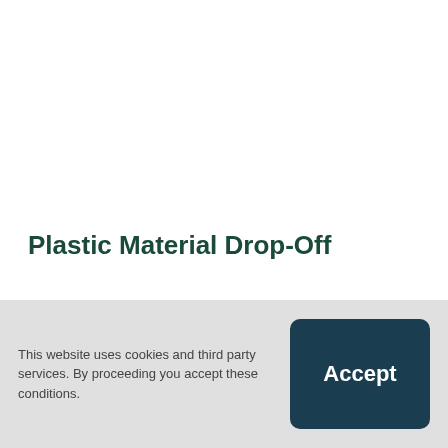Plastic Material Drop-Off
In order to create a new display on plastic pollution at the Ecology Centre, we are looking for your help!
This website uses cookies and third party services. By proceeding you accept these conditions.